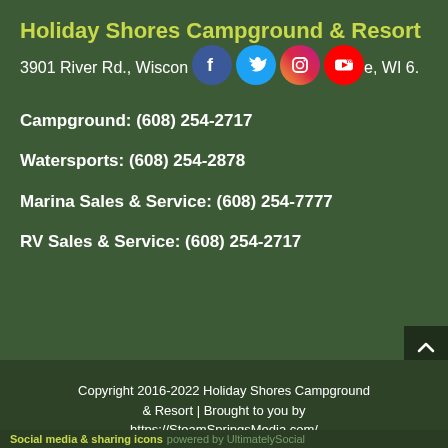Holiday Shores Campground & Resort
3901 River Rd., Wisconsin Dells, WI 53965
Campground: (608) 254-2717
Watersports: (608) 254-2878
Marina Sales & Service: (608) 254-7777
RV Sales & Service:  (608) 254-2717
Copyright 2016-2022 Holiday Shores Campground & Resort | Brought to you by https://SteamSpringsMedia.com/
Social media & sharing icons powered by UltimatelySocial